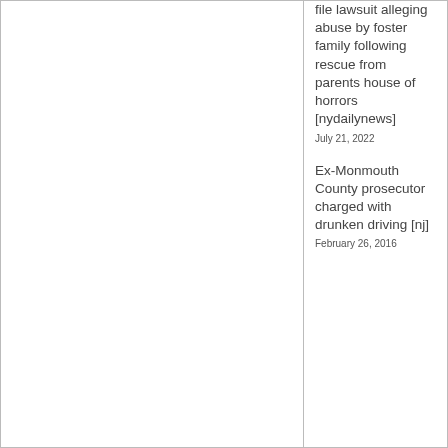file lawsuit alleging abuse by foster family following rescue from parents house of horrors [nydailynews]
July 21, 2022
Ex-Monmouth County prosecutor charged with drunken driving [nj]
February 26, 2016